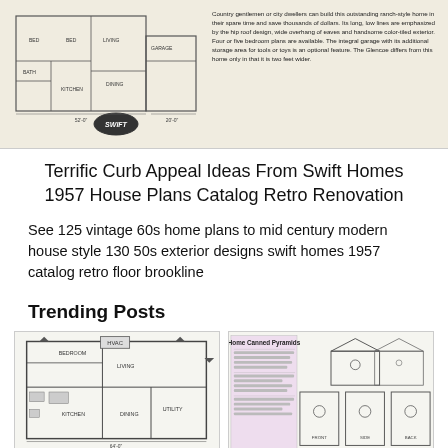[Figure (engineering-diagram): House floor plan with Swift logo badge and descriptive text about ranch-style home construction]
Terrific Curb Appeal Ideas From Swift Homes 1957 House Plans Catalog Retro Renovation
See 125 vintage 60s home plans to mid century modern house style 130 50s exterior designs swift homes 1957 catalog retro floor brookline
Trending Posts
[Figure (engineering-diagram): Detailed house floor plan architectural drawing with room labels and measurements]
[Figure (engineering-diagram): Home Canned Pyramids instructional diagrams with birdhouse/box construction illustrations]